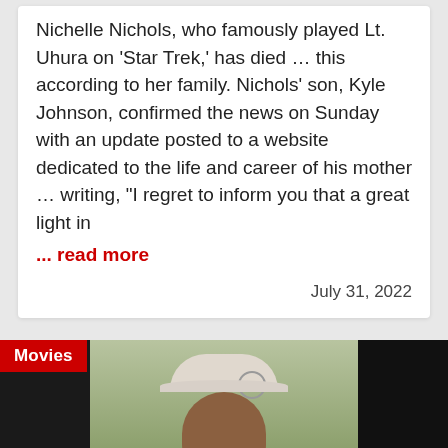Nichelle Nichols, who famously played Lt. Uhura on 'Star Trek,' has died … this according to her family. Nichols' son, Kyle Johnson, confirmed the news on Sunday with an update posted to a website dedicated to the life and career of his mother … writing, "I regret to inform you that a great light in
... read more
July 31, 2022
[Figure (photo): A man wearing a white cap with a W logo, speaking or being interviewed, with a dark background on the left and right sides and a greenish background in the center. A red 'Movies' badge is overlaid in the top-left corner.]